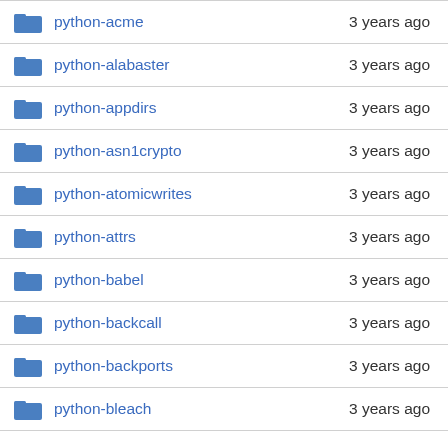| Name | Last commit |
| --- | --- |
| python-acme | 3 years ago |
| python-alabaster | 3 years ago |
| python-appdirs | 3 years ago |
| python-asn1crypto | 3 years ago |
| python-atomicwrites | 3 years ago |
| python-attrs | 3 years ago |
| python-babel | 3 years ago |
| python-backcall | 3 years ago |
| python-backports | 3 years ago |
| python-bleach | 3 years ago |